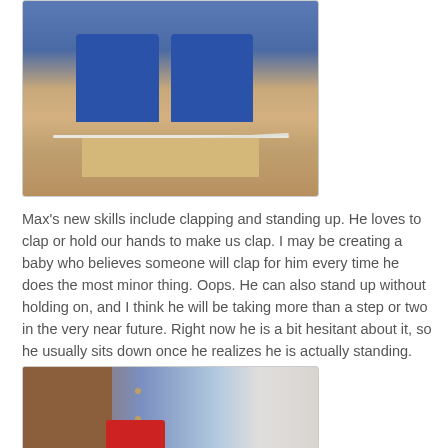[Figure (photo): Child's bare feet and lower legs in jeans standing on a hardwood floor near a white extension cord and a floor vent]
Max's new skills include clapping and standing up. He loves to clap or hold our hands to make us clap. I may be creating a baby who believes someone will clap for him every time he does the most minor thing. Oops. He can also stand up without holding on, and I think he will be taking more than a step or two in the very near future. Right now he is a bit hesitant about it, so he usually sits down once he realizes he is actually standing.
[Figure (photo): Baby standing near a wooden dresser with blue patterned wallpaper in background, wearing a red outfit, partially visible at bottom of frame]